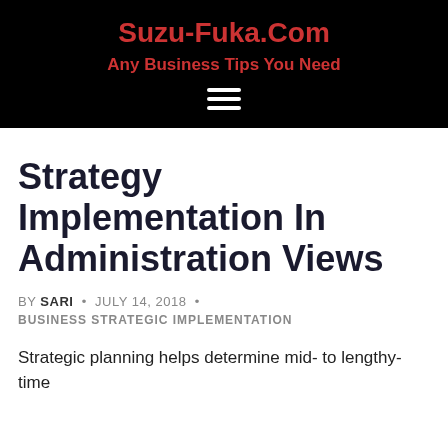Suzu-Fuka.Com
Any Business Tips You Need
Strategy Implementation In Administration Views
BY SARI · JULY 14, 2018 · BUSINESS STRATEGIC IMPLEMENTATION
Strategic planning helps determine mid- to lengthy- time